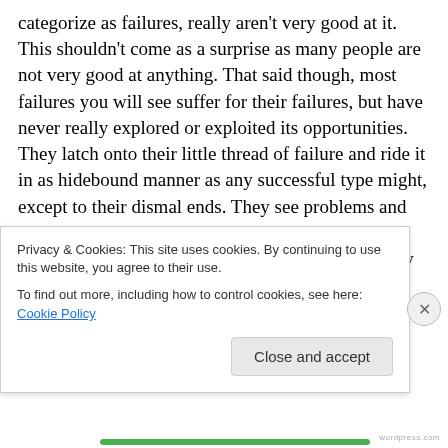categorize as failures, really aren't very good at it.  This shouldn't come as a surprise as many people are not very good at anything.  That said though, most failures you will see suffer for their failures, but have never really explored or exploited its opportunities.  They latch onto their little thread of failure and ride it in as hidebound manner as any successful type might, except to their dismal ends.  They see problems and enemies everywhere.  They worry about what happened before, or what might happen again.  They are constantly afraid of being 'found out'.  They are hidebound, close-minded, stuffy, stilted, puffed up, snooty
Privacy & Cookies: This site uses cookies. By continuing to use this website, you agree to their use.
To find out more, including how to control cookies, see here: Cookie Policy